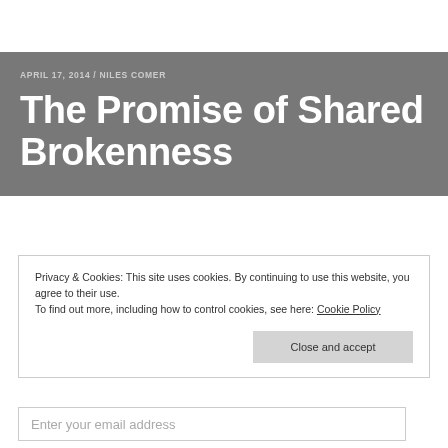APRIL 17, 2014 / NILES COMER
The Promise of Shared Brokenness
Privacy & Cookies: This site uses cookies. By continuing to use this website, you agree to their use.
To find out more, including how to control cookies, see here: Cookie Policy
Close and accept
Enter your email address